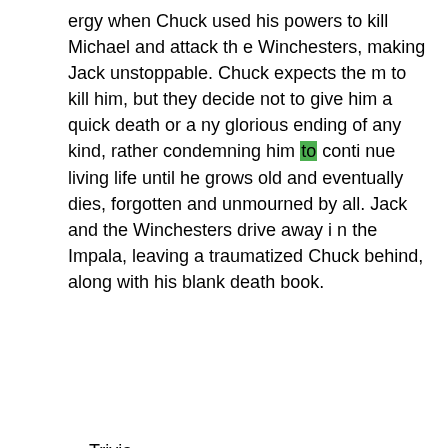ergy when Chuck used his powers to kill Michael and attack the Winchesters, making Jack unstoppable. Chuck expects them to kill him, but they decide not to give him a quick death or any glorious ending of any kind, rather condemning him to continue living life until he grows old and eventually dies, forgotten and unmourned by all. Jack and the Winchesters drive away in the Impala, leaving a traumatized Chuck behind, along with his blank death book.
==Trivia==